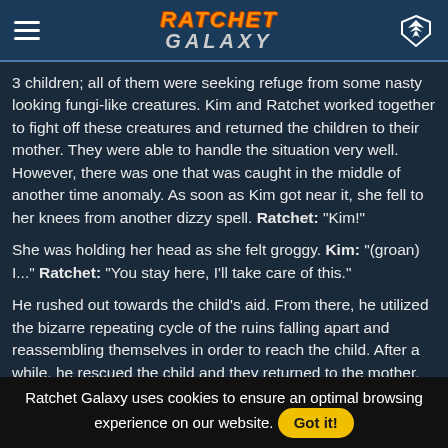Ratchet Galaxy
3 children; all of them were seeking refuge from some nasty looking fungi-like creatures. Kim and Ratchet worked together to fight off these creatures and returned the children to their mother. They were able to handle the situation very well. However, there was one that was caught in the middle of another time anomaly. As soon as Kim got near it, she fell to her knees from another dizzy spell. Ratchet: "Kim!"
She was holding her head as she felt groggy. Kim: "(groan) I..." Ratchet: "You stay here, I'll take care of this."
He rushed out towards the child's aid. From there, he utilized the bizarre repeating cycle of the ruins falling apart and reassembling themselves in order to reach the child. After a while, he rescued the child and they returned to the mother, with Ratchet helping out Kim along the way. Female: "Oh, thank you so much!" Kim: "It was no big, right, Ratchet?" Ratchet: "Uh, yeah, so not the drama, except for the last bit
Ratchet Galaxy uses cookies to ensure an optimal browsing experience on our website. Got it!